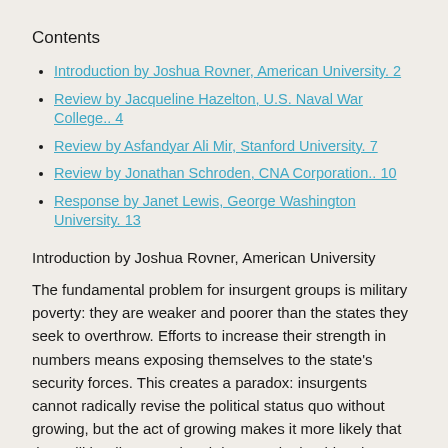Contents
Introduction by Joshua Rovner, American University. 2
Review by Jacqueline Hazelton, U.S. Naval War College.. 4
Review by Asfandyar Ali Mir, Stanford University. 7
Review by Jonathan Schroden, CNA Corporation.. 10
Response by Janet Lewis, George Washington University. 13
Introduction by Joshua Rovner, American University
The fundamental problem for insurgent groups is military poverty: they are weaker and poorer than the states they seek to overthrow. Efforts to increase their strength in numbers means exposing themselves to the state's security forces. This creates a paradox: insurgents cannot radically revise the political status quo without growing, but the act of growing makes it more likely that they will be discovered and destroyed. The thing they must do to succeed increases the risks of